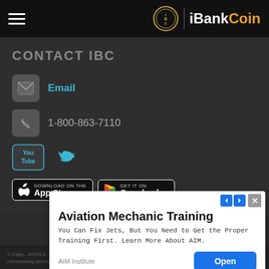iBankCoin
CONTACT IBC
Email
1-800-863-7110
[Figure (logo): YouTube icon and Twitter bird icon social media links]
[Figure (screenshot): Download on the App Store and GET IT ON Google play buttons]
[Figure (infographic): Aviation Mechanic Training advertisement overlay - You Can Fix Jets, But You Need to Get the Proper Training First. Learn More About AIM. - AIM Institute - Open button]
© Copy... DISCLA... not p... Statem... myself... not investing recommendations. Under no circumstances does this information